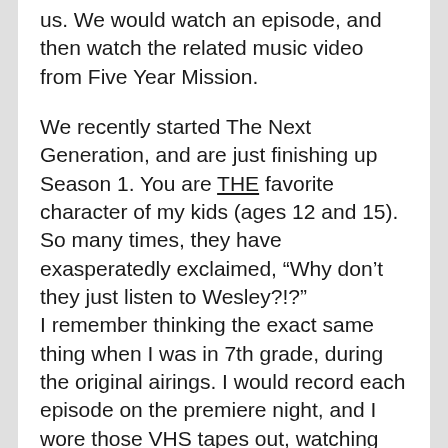us. We would watch an episode, and then watch the related music video from Five Year Mission.
We recently started The Next Generation, and are just finishing up Season 1. You are THE favorite character of my kids (ages 12 and 15). So many times, they have exasperatedly exclaimed, “Why don’t they just listen to Wesley?!?”
I remember thinking the exact same thing when I was in 7th grade, during the original airings. I would record each episode on the premiere night, and I wore those VHS tapes out, watching them again and again.
Thanks for playing an important part of